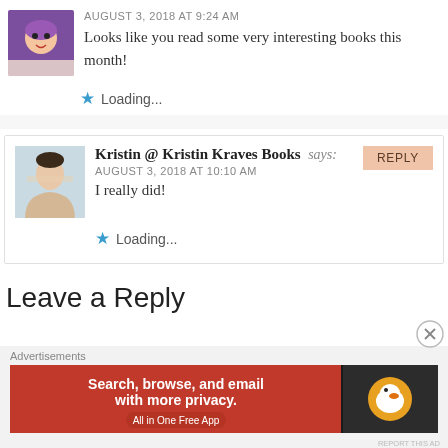[Figure (photo): Purple avatar icon of a cartoon character]
AUGUST 3, 2018 AT 9:24 AM
Looks like you read some very interesting books this month!
Loading...
[Figure (photo): Photo of Kristin, a woman holding books]
Kristin @ Kristin Kraves Books says:
AUGUST 3, 2018 AT 10:10 AM
I really did!
Loading...
Leave a Reply
Advertisements
[Figure (other): DuckDuckGo advertisement banner: Search, browse, and email with more privacy. All in One Free App]